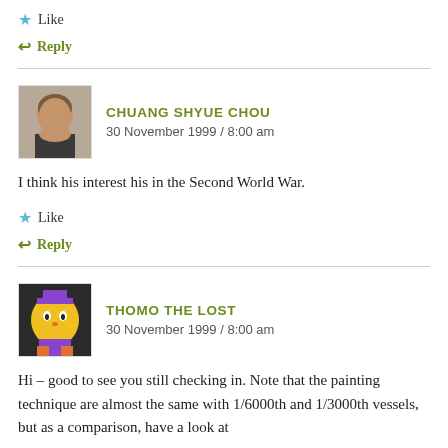★ Like
↩ Reply
CHUANG SHYUE CHOU
30 November 1999 / 8:00 am
I think his interest his in the Second World War.
★ Like
↩ Reply
THOMO THE LOST
30 November 1999 / 8:00 am
Hi – good to see you still checking in. Note that the painting technique are almost the same with 1/6000th and 1/3000th vessels, but as a comparison, have a look at